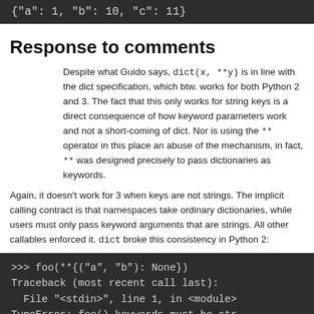[Figure (screenshot): Dark code block showing: {"a": 1, "b": 10, "c": 11}]
Response to comments
Despite what Guido says, dict(x, **y) is in line with the dict specification, which btw. works for both Python 2 and 3. The fact that this only works for string keys is a direct consequence of how keyword parameters work and not a short-coming of dict. Nor is using the ** operator in this place an abuse of the mechanism, in fact, ** was designed precisely to pass dictionaries as keywords.
Again, it doesn't work for 3 when keys are not strings. The implicit calling contract is that namespaces take ordinary dictionaries, while users must only pass keyword arguments that are strings. All other callables enforced it. dict broke this consistency in Python 2:
[Figure (screenshot): Dark code block showing: >>> foo(**{("a", "b"): None})
Traceback (most recent call last):
  File "<stdin>", line 1, in <module>
TypeError: foo() keywords must be str
>>> dict(**{("a", "b"): None})]